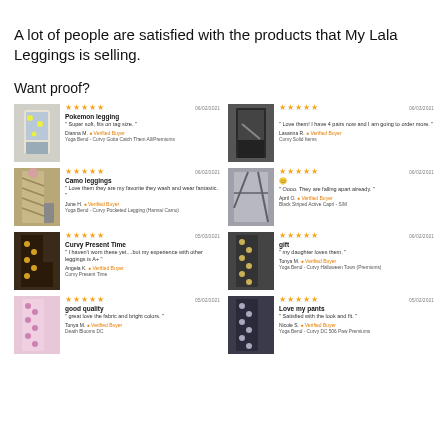A lot of people are satisfied with the products that My Lala Leggings is selling.
Want proof?
[Figure (screenshot): Product review card: Pokemon legging, 5 stars, 06/02/2021, 'Super soft, fits on tag size.' by Dianna M. Verified Buyer, Yoga Bend - Curvy Gotta Catch Them All/Premiums]
[Figure (screenshot): Product review card: 5 stars, 06/03/2021, 'Love them! I have 4 pairs now and I am going to order more.' by Lasanna R. Verified Buyer, Curvy Solid Items]
[Figure (screenshot): Product review card: Camo leggings, 5 stars, 06/02/2021, 'Love them they are my favorite they wash and wear fantastic.' by June H. Verified Buyer, Yoga Bend - Curvy Pocketed Legging (Hanna/ Camo)]
[Figure (screenshot): Product review card: 5 stars, 06/02/2021, emoji, 'Oooo. They are falling apart already.' by April O. Verified Buyer, Black Striped Active Capri - S/M]
[Figure (screenshot): Product review card: Curvy Present Time, 5 stars, 05/03/2021, 'I haven't worn these yet....but my experience with other leggings is A+.' by Angela K. Verified Buyer, Curvy Present Time]
[Figure (screenshot): Product review card: gift, 5 stars, 06/02/2021, 'my daughter loves them.' by Tonya M. Verified Buyer, Yoga Bend - Curvy Halloween Town (Premiums)]
[Figure (screenshot): Product review card: good quality, 5 stars, 05/02/2021, 'great love the fabric and bright colors.' by Tonya M. Verified Buyer, Death Blooms DC]
[Figure (screenshot): Product review card: Love my pants, 5 stars, 05/02/2021, 'Satisfied with the look and fit.' by Nicole S. Verified Buyer, Yoga Bend - Curvy DC 506 Paw Premiums]